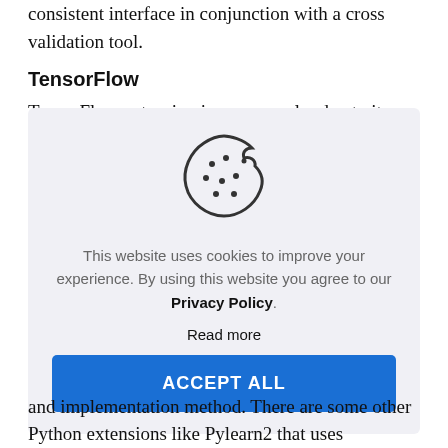consistent interface in conjunction with a cross validation tool.
TensorFlow
TensorFlow extension is very popular due to its extensive framework for deep and machine
[Figure (illustration): Cookie icon — a round cookie with a bite taken out of the top right, with small dots on it, drawn in outline style.]
This website uses cookies to improve your experience. By using this website you agree to our Privacy Policy.
Read more
ACCEPT ALL
and implementation method. There are some other Python extensions like Pylearn2 that uses